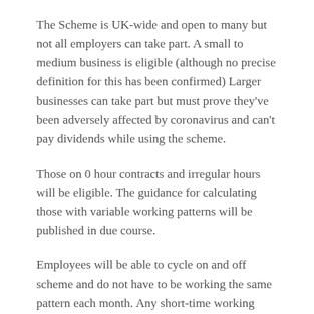The Scheme is UK-wide and open to many but not all employers can take part. A small to medium business is eligible (although no precise definition for this has been confirmed) Larger businesses can take part but must prove they've been adversely affected by coronavirus and can't pay dividends while using the scheme.
Those on 0 hour contracts and irregular hours will be eligible. The guidance for calculating those with variable working patterns will be published in due course.
Employees will be able to cycle on and off scheme and do not have to be working the same pattern each month. Any short-time working arrangement must cover a minimum period of seven days.